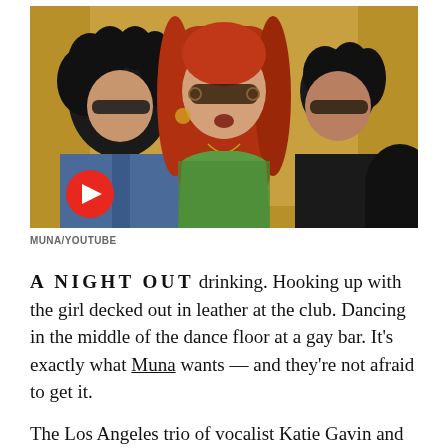[Figure (photo): Three people standing in an elevator: left person with curly dark hair and sunglasses in a denim jacket, center person with long red hair, sunglasses, and a green sparkly top with mouth open, right person with short dark hair and sunglasses. A red play button overlay is visible in the bottom-left corner.]
MUNA/YOUTUBE
A NIGHT OUT drinking. Hooking up with the girl decked out in leather at the club. Dancing in the middle of the dance floor at a gay bar. It's exactly what Muna wants — and they're not afraid to get it.
The Los Angeles trio of vocalist Katie Gavin and